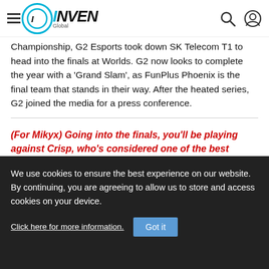INVEN Global
Championship, G2 Esports took down SK Telecom T1 to head into the finals at Worlds. G2 now looks to complete the year with a 'Grand Slam', as FunPlus Phoenix is the final team that stands in their way. After the heated series, G2 joined the media for a press conference.
(For Mikyx) Going into the finals, you'll be playing against Crisp, who's considered one of the best Support in the competition so far. What do you think about the player, and how will you prepare against him?
We use cookies to ensure the best experience on our website. By continuing, you are agreeing to allow us to store and access cookies on your device. Click here for more information. Got it